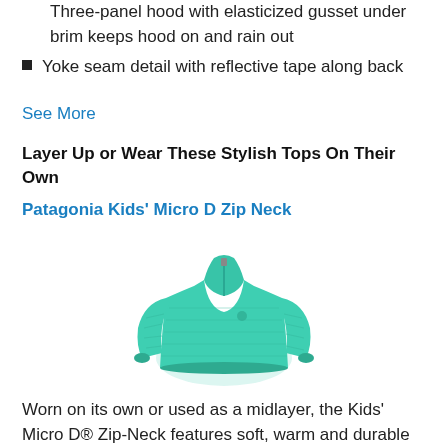Three-panel hood with elasticized gusset under brim keeps hood on and rain out
Yoke seam detail with reflective tape along back
See More
Layer Up or Wear These Stylish Tops On Their Own
Patagonia Kids' Micro D Zip Neck
[Figure (photo): A teal/mint colored kids' zip neck fleece pullover with long sleeves and a quarter zip at the collar]
Worn on its own or used as a midlayer, the Kids' Micro D® Zip-Neck features soft, warm and durable microdenier